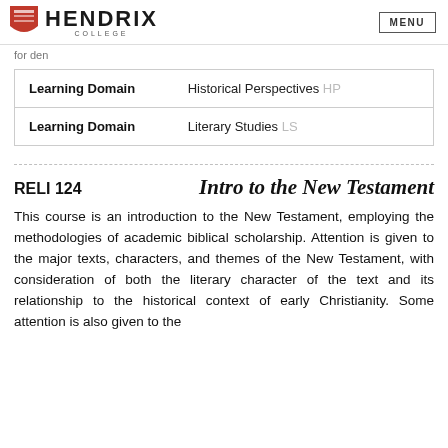Hendrix College — MENU
for den
| Learning Domain | Value |
| --- | --- |
| Learning Domain | Historical Perspectives HP |
| Learning Domain | Literary Studies LS |
RELI 124   Intro to the New Testament
This course is an introduction to the New Testament, employing the methodologies of academic biblical scholarship. Attention is given to the major texts, characters, and themes of the New Testament, with consideration of both the literary character of the text and its relationship to the historical context of early Christianity. Some attention is also given to the